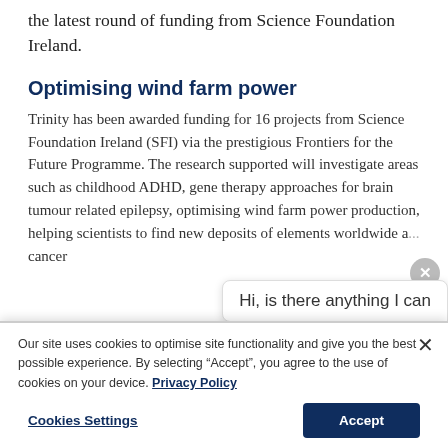the latest round of funding from Science Foundation Ireland.
Optimising wind farm power
Trinity has been awarded funding for 16 projects from Science Foundation Ireland (SFI) via the prestigious Frontiers for the Future Programme. The research supported will investigate areas such as childhood ADHD, gene therapy approaches for brain tumour related epilepsy, optimising wind farm power production, helping scientists to find new deposits of elements worldwide a... cancer
Hi, is there anything I can
Our site uses cookies to optimise site functionality and give you the best possible experience. By selecting “Accept”, you agree to the use of cookies on your device. Privacy Policy
Cookies Settings
Accept